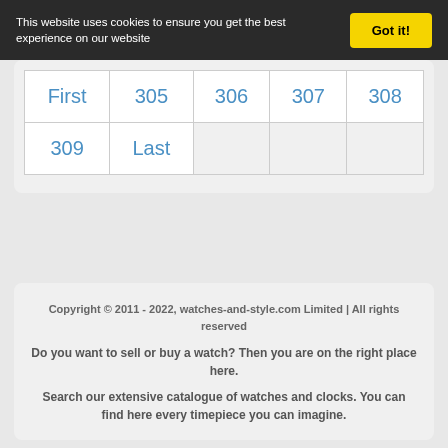This website uses cookies to ensure you get the best experience on our website
| First | 305 | 306 | 307 | 308 |
| 309 | Last |  |  |  |
Copyright © 2011 - 2022, watches-and-style.com Limited | All rights reserved
Do you want to sell or buy a watch? Then you are on the right place here.
Search our extensive catalogue of watches and clocks. You can find here every timepiece you can imagine.